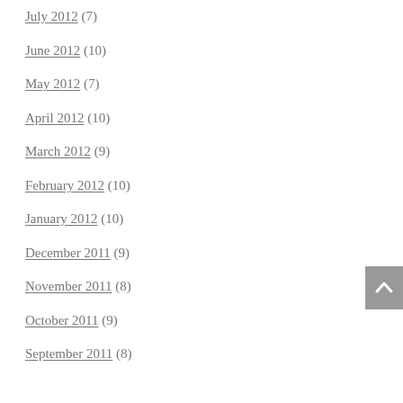July 2012 (7)
June 2012 (10)
May 2012 (7)
April 2012 (10)
March 2012 (9)
February 2012 (10)
January 2012 (10)
December 2011 (9)
November 2011 (8)
October 2011 (9)
September 2011 (8)